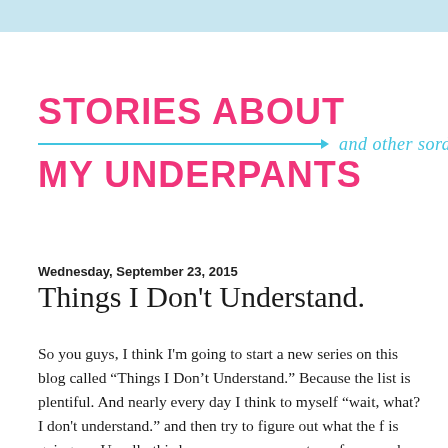STORIES ABOUT MY UNDERPANTS — and other sordid tales
Wednesday, September 23, 2015
Things I Don't Understand.
So you guys, I think I'm going to start a new series on this blog called “Things I Don’t Understand.” Because the list is plentiful. And nearly every day I think to myself “wait, what? I don't understand.” and then try to figure out what the f is going on. Usually this happens on my way to or from work because those are the hours where I’m among other adults who are doing or saying or liking things that make no sense